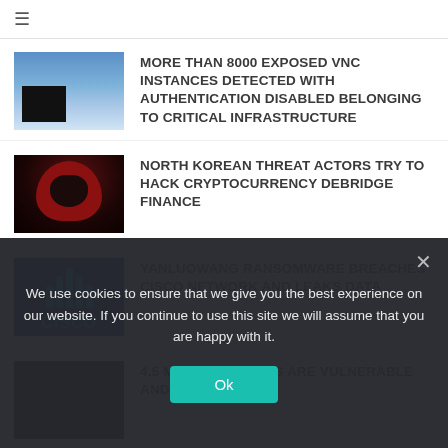≡ (navigation menu icon)
MORE THAN 8000 EXPOSED VNC INSTANCES DETECTED WITH AUTHENTICATION DISABLED BELONGING TO CRITICAL INFRASTRUCTURE
NORTH KOREAN THREAT ACTORS TRY TO HACK CRYPTOCURRENCY DEBRIDGE FINANCE
YANLUOWANG RANSOMWARE BREACHES CISCO NETWORK AND LEAKS DATA
4.5 MILLION DEVICES ARE VULNERABLE AND
We use cookies to ensure that we give you the best experience on our website. If you continue to use this site we will assume that you are happy with it.